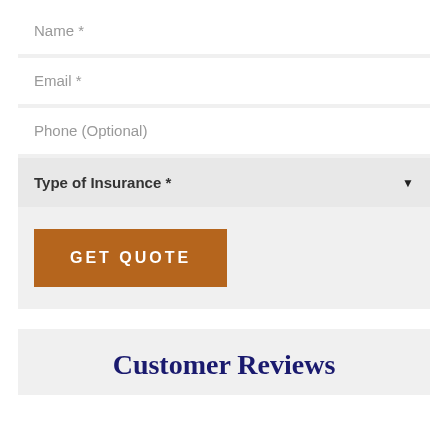Name *
Email *
Phone (Optional)
Type of Insurance *
GET QUOTE
Customer Reviews